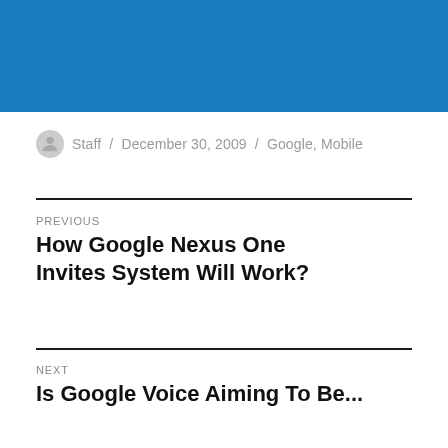[Figure (other): Blue banner/header image at top of page]
Staff / December 30, 2009 / Google, Mobile
PREVIOUS
How Google Nexus One Invites System Will Work?
NEXT
Is Google Voice Aiming To Be...